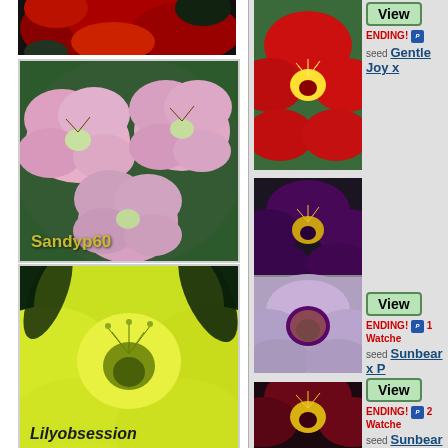[Figure (photo): Daylily flowers - red/dark flowers closeup at top of left column]
[Figure (photo): Pink daylily flowers cluster with watermark 'Sandyp60']
[Figure (photo): Yellow-green daylily closeup with watermark 'Lilyobsession']
[Figure (photo): Red daylily flower listing image (top right)]
View
ENDING!
seed Gentle Joy x
[Figure (photo): Dark purple/maroon daylily and pink daylily combined listing (middle right)]
View
ENDING! 1 Watche
seed Sunbear x P
[Figure (photo): Dark red/maroon daylily listing (bottom right)]
View
ENDING! 2 Watche
seed Sunbear x P